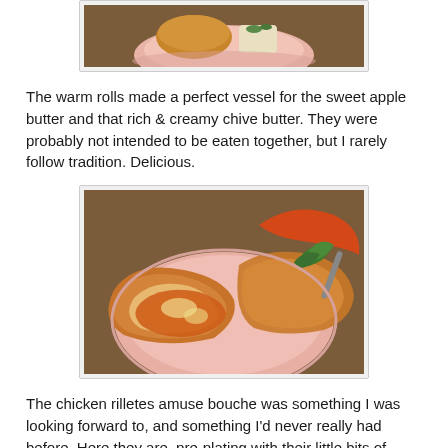[Figure (photo): Top portion of a photo showing warm bread rolls on a pink plate with butter, partially cropped at the top of the page.]
The warm rolls made a perfect vessel for the sweet apple butter and that rich & creamy chive butter. They were probably not intended to be eaten together, but I rarely follow tradition. Delicious.
[Figure (photo): A close-up photo of a bread roll split open and spread with apple butter and chive butter on a pink plate, with a green herb garnish visible.]
The chicken rilletes amuse bouche was something I was looking forward to, and something I'd never really had before. Here they are, pre-plating with their little bits of